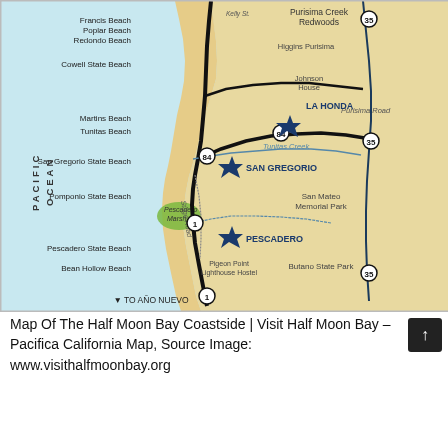[Figure (map): Map of the Half Moon Bay Coastside area in California, showing the Pacific Ocean coastline with beaches (Francis Beach, Poplar Beach, Redondo Beach, Cowell State Beach, Martins Beach, Tunitas Beach, San Gregorio State Beach, Pomponio State Beach, Pescadero State Beach, Bean Hollow Beach), roads (Highway 1, 84, 35), towns marked with blue stars (La Honda, San Gregorio, Pescadero), Pescadero Marsh in green, San Mateo Memorial Park, Butano State Park, Purisima Creek Redwoods, and an arrow pointing to Año Nuevo.]
Map Of The Half Moon Bay Coastside | Visit Half Moon Bay – Pacifica California Map, Source Image: www.visithalfmoonbay.org